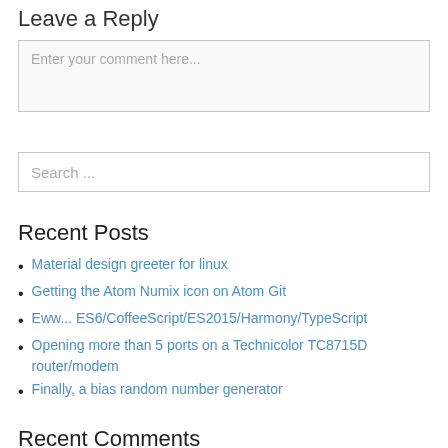Leave a Reply
Enter your comment here...
Search ...
Recent Posts
Material design greeter for linux
Getting the Atom Numix icon on Atom Git
Eww... ES6/CoffeeScript/ES2015/Harmony/TypeScript
Opening more than 5 ports on a Technicolor TC8715D router/modem
Finally, a bias random number generator
Recent Comments